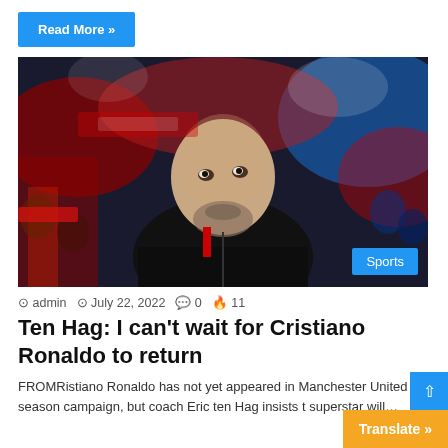Read More »
[Figure (photo): A bald man with a salt-and-pepper beard, wearing a black jacket, looking upward against a blurred crowd background. A 'Sports' badge is visible in the bottom right corner of the image.]
admin  July 22, 2022  0  11
Ten Hag: I can't wait for Cristiano Ronaldo to return
FROMRistiano Ronaldo has not yet appeared in Manchester United pre season campaign, but coach Eric ten Hag insists the superstar will…